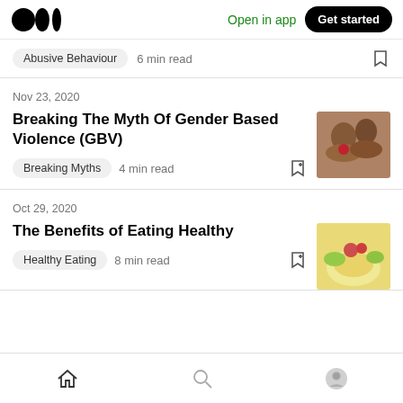Medium logo | Open in app | Get started
Abusive Behaviour   6 min read
Nov 23, 2020
Breaking The Myth Of Gender Based Violence (GBV)
Breaking Myths   4 min read
Oct 29, 2020
The Benefits of Eating Healthy
Healthy Eating   8 min read
Home | Search | Profile